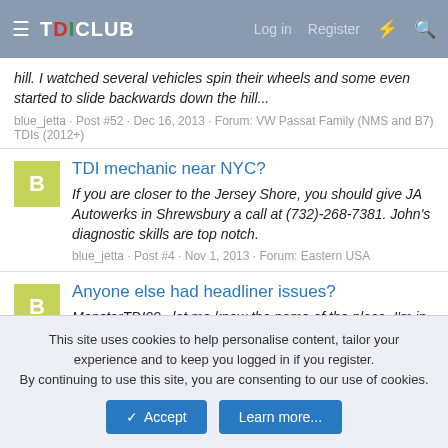TDICLUB — Log in | Register
hill. I watched several vehicles spin their wheels and some even started to slide backwards down the hill...
blue_jetta · Post #52 · Dec 16, 2013 · Forum: VW Passat Family (NMS and B7) TDIs (2012+)
TDI mechanic near NYC?
If you are closer to the Jersey Shore, you should give JA Autowerks in Shrewsbury a call at (732)-268-7381. John's diagnostic skills are top notch.
blue_jetta · Post #4 · Nov 1, 2013 · Forum: Eastern USA
Anyone else had headliner issues?
MonsterTDI09...let me know the name of the place. I'm in Tabernacle so I'm not that far away. I'm checking out Ed's Trim Shop in Hainesport after work. I'll let you know what I find there.
This site uses cookies to help personalise content, tailor your experience and to keep you logged in if you register.
By continuing to use this site, you are consenting to our use of cookies.